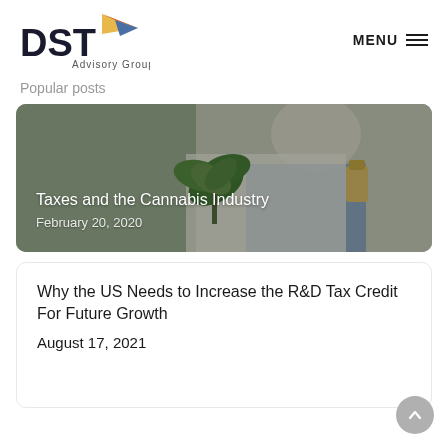[Figure (logo): DST Advisory Group logo with red/blue/yellow paper airplane icon and bold DST letters]
Popular posts
[Figure (photo): A researcher in a white lab coat and blue gloves holding cannabis plant and a small bottle, wearing a face mask. Overlay text: 'Taxes and the Cannabis Industry' and 'February 20, 2020']
Why the US Needs to Increase the R&D Tax Credit For Future Growth
August 17, 2021